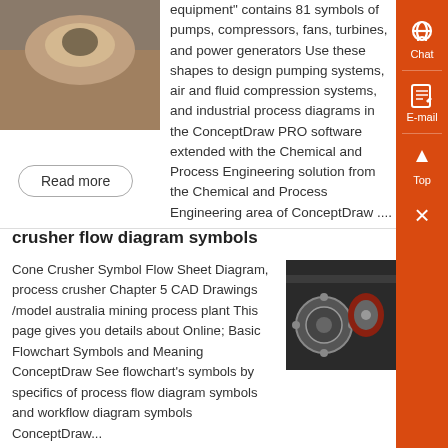equipment" contains 81 symbols of pumps, compressors, fans, turbines, and power generators Use these shapes to design pumping systems, air and fluid compression systems, and industrial process diagrams in the ConceptDraw PRO software extended with the Chemical and Process Engineering solution from the Chemical and Process Engineering area of ConceptDraw ....
Read more
crusher flow diagram symbols
[Figure (photo): Close-up photo of industrial crusher machinery components]
Cone Crusher Symbol Flow Sheet Diagram, process crusher Chapter 5 CAD Drawings /model australia mining process plant This page gives you details about Online; Basic Flowchart Symbols and Meaning ConceptDraw See flowchart's symbols by specifics of process flow diagram symbols and workflow diagram symbols ConceptDraw...